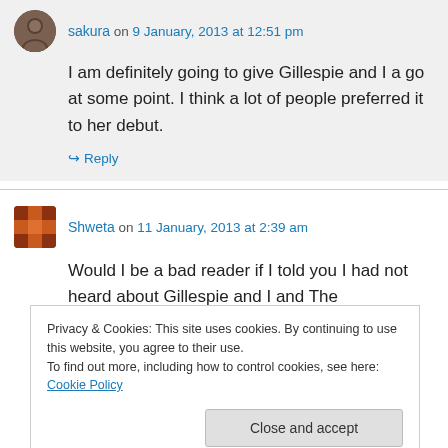sakura on 9 January, 2013 at 12:51 pm
I am definitely going to give Gillespie and I a go at some point. I think a lot of people preferred it to her debut.
↪ Reply
Shweta on 11 January, 2013 at 2:39 am
Would I be a bad reader if I told you I had not heard about Gillespie and I and The
Privacy & Cookies: This site uses cookies. By continuing to use this website, you agree to their use.
To find out more, including how to control cookies, see here: Cookie Policy
Close and accept
↪ Reply